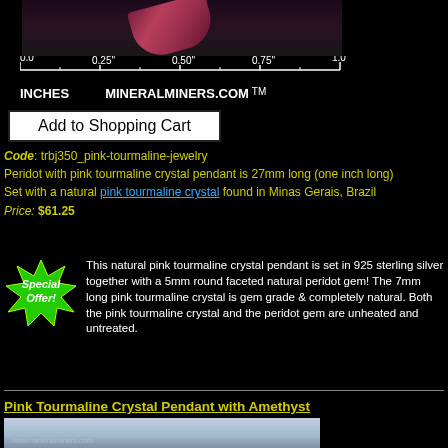[Figure (photo): Top portion of a mineral/gemstone specimen photo with ruler scale below showing 0.0 to 1.0 inches, labeled INCHES MINERALMINERS.COM TM]
Add to Shopping Cart
Code: trbj350_pink-tourmaline-jewelry
Peridot with pink tourmaline crystal pendant is 27mm long (one inch long)
Set with a natural pink tourmaline crystal found in Minas Gerais, Brazil
Price: $61.25
[Figure (illustration): Special Offer starburst graphic in green and yellow]
This natural pink tourmaline crystal pendant is set in 925 sterling silver together with a 5mm round faceted natural peridot gem! The 7mm long pink tourmaline crystal is gem grade & completely natural. Both the pink tourmaline crystal and the peridot gem are unheated and untreated.
Pink Tourmaline Crystal Pendant with Amethyst
[Figure (photo): Bottom portion showing next product photo of a pendant with clasp, with www.mineralminers.com watermark]